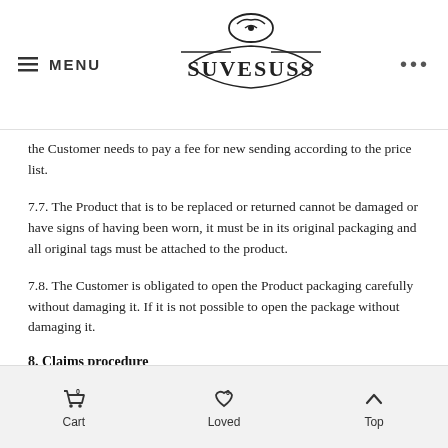MENU | SUVESUSS logo | ...
the Customer needs to pay a fee for new sending according to the price list.
7.7. The Product that is to be replaced or returned cannot be damaged or have signs of having been worn, it must be in its original packaging and all original tags must be attached to the product.
7.8. The Customer is obligated to open the Product packaging carefully without damaging it. If it is not possible to open the package without damaging it.
8. Claims procedure
8.1. Pursuant to subsection 2 (218) of the Law of Obligations Act, a two year term for raising claims applies to the Products sold at the Online Store. Any disputes between the Customer and the Seller shall be solved by negotiations.
8.2. Pursuant to subsection 1 (222) of the Law of Obligations Act, the Customer has the right to demand the repair of the Product or delivery of a replacement Product if the...
Cart 0 | Loved 0 | Top